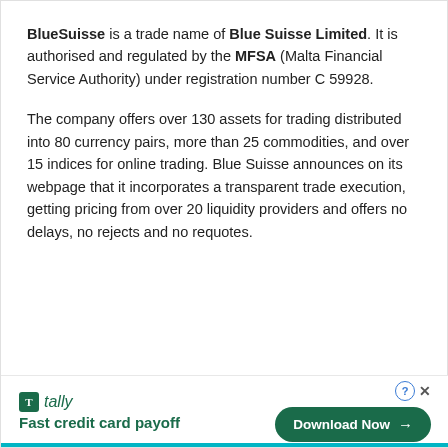BlueSuisse is a trade name of Blue Suisse Limited. It is authorised and regulated by the MFSA (Malta Financial Service Authority) under registration number C 59928.
The company offers over 130 assets for trading distributed into 80 currency pairs, more than 25 commodities, and over 15 indices for online trading. Blue Suisse announces on its webpage that it incorporates a transparent trade execution, getting pricing from over 20 liquidity providers and offers no delays, no rejects and no requotes.
[Figure (other): Advertisement banner for Tally app showing logo, tagline 'Fast credit card payoff', a Download Now button, a question mark circle icon, and a close X button.]